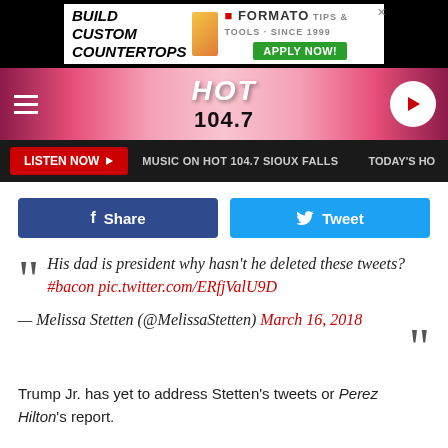[Figure (screenshot): Advertisement banner for FORMATO countertops with BUILD CUSTOM COUNTERTOPS text and APPLY NOW button]
[Figure (screenshot): HOT 104.7 radio station header with pink gradient background, hamburger menu, logo and play button]
[Figure (screenshot): Navigation bar with LISTEN NOW button, MUSIC ON HOT 104.7 SIOUX FALLS text, TODAY'S HOT text]
[Figure (screenshot): Facebook Share and Twitter Tweet social sharing buttons]
“ His dad is president why hasn’t he deleted these tweets? #bacon pic.twitter.com/ERfjValU9D — Melissa Stetten (@MelissaStetten) March 16, 2018 ”
Trump Jr. has yet to address Stetten’s tweets or Perez Hilton’s report.